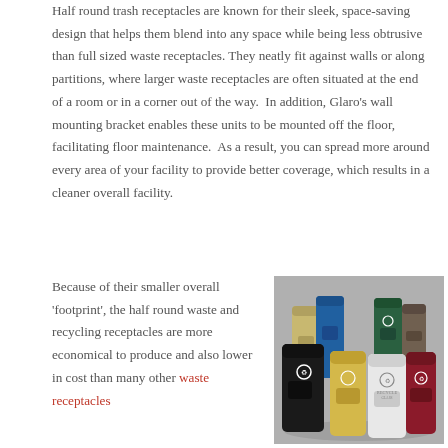Half round trash receptacles are known for their sleek, space-saving design that helps them blend into any space while being less obtrusive than full sized waste receptacles. They neatly fit against walls or along partitions, where larger waste receptacles are often situated at the end of a room or in a corner out of the way.  In addition, Glaro's wall mounting bracket enables these units to be mounted off the floor, facilitating floor maintenance.  As a result, you can spread more around every area of your facility to provide better coverage, which results in a cleaner overall facility.
Because of their smaller overall 'footprint', the half round waste and recycling receptacles are more economical to produce and also lower in cost than many other waste receptacles
[Figure (photo): A group of half-round waste and recycling receptacles in various colors (black, gold, blue, green, dark red/maroon, white, tan) arranged together against a gray background.]